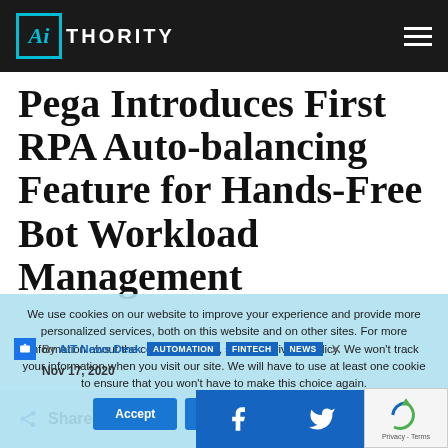AIThority
Pega Introduces First RPA Auto-balancing Feature for Hands-Free Bot Workload Management
We use cookies on our website to improve your experience and provide more personalized services, both on this website and on other sites. For more information about the cookies we use, see our Privacy Policy. We won't track your information when you visit our site. We will have to use at least one cookie to ensure that you won't have to make this choice again.
By AIT News Desk   AUTOMATION   FINTECH   NEWS
Nov 17, 2020
Share